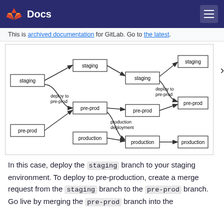Docs
This is archived documentation for GitLab. Go to the latest.
[Figure (flowchart): Branch flow diagram showing staging, pre-prod, and production pipelines. Left nodes: staging, pre-prod. Middle nodes: staging, pre-prod, production. Right-middle nodes: staging (top), pre-prod (middle), production (bottom). Far-right nodes: staging, pre-prod, production. Edges include labeled arrows: deploy to pre-prod, production deployment.]
In this case, deploy the staging branch to your staging environment. To deploy to pre-production, create a merge request from the staging branch to the pre-prod branch. Go live by merging the pre-prod branch into the